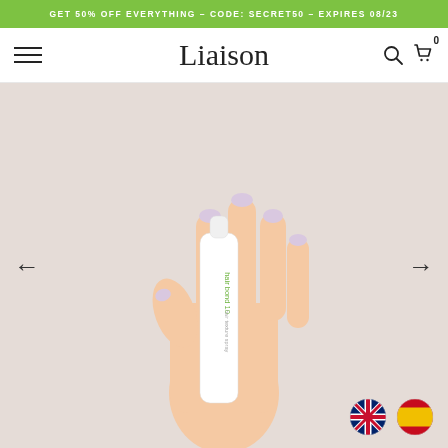GET 50% OFF EVERYTHING - CODE: SECRET50 - EXPIRES 08/23
Liaison
[Figure (photo): A hand with light purple nails holding a white spray bottle labeled 'hair bond 10 hair texture spray' against a pinkish-beige background. Navigation arrows (left and right) flank the image. UK and Spanish flag icons are in the bottom right corner.]